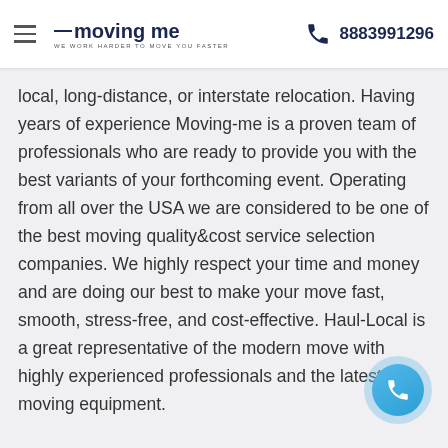moving me — WE WORK HARDER TO MOVE YOU FASTER | 8883991296
local, long-distance, or interstate relocation. Having years of experience Moving-me is a proven team of professionals who are ready to provide you with the best variants of your forthcoming event. Operating from all over the USA we are considered to be one of the best moving quality&cost service selection companies. We highly respect your time and money and are doing our best to make your move fast, smooth, stress-free, and cost-effective. Haul-Local is a great representative of the modern move with highly experienced professionals and the latest moving equipment.
[Figure (illustration): Blue circular call button with phone icon in bottom-right corner]